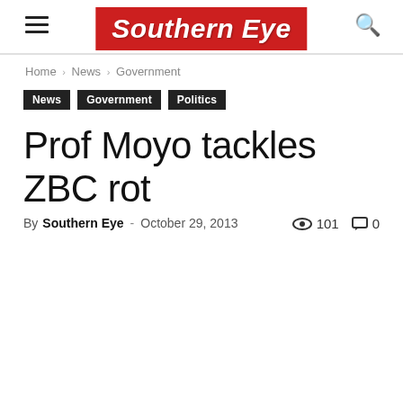[Figure (logo): Southern Eye newspaper logo — white italic bold text on red background]
Home › News › Government
News   Government   Politics
Prof Moyo tackles ZBC rot
By Southern Eye - October 29, 2013   101   0